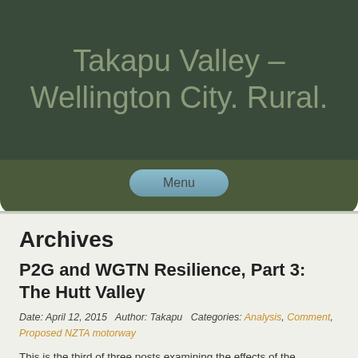Takapu Valley – Wellington City. Rural.
Menu
Archives
P2G and WGTN Resilience, Part 3: The Hutt Valley
Date: April 12, 2015   Author: Takapu   Categories: Analysis, Comment, Proposed NZTA motorway
This is the third of three posts examining the effects of the proposed